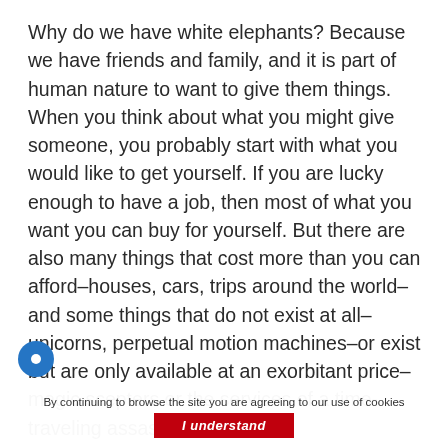Why do we have white elephants? Because we have friends and family, and it is part of human nature to want to give them things. When you think about what you might give someone, you probably start with what you would like to get yourself. If you are lucky enough to have a job, then most of what you want you can buy for yourself. But there are also many things that cost more than you can afford–houses, cars, trips around the world–and some things that do not exist at all–unicorns, perpetual motion machines–or exist but are only available at an exorbitant price–magic scepters or the services of a time-traveling assassin.
By continuing to browse the site you are agreeing to our use of cookies